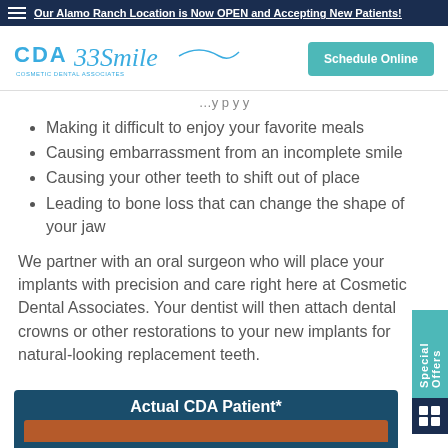Our Alamo Ranch Location is Now OPEN and Accepting New Patients!
[Figure (logo): CDA 33Smile logo with teal wave and Schedule Online button]
[partial line cut off]
Making it difficult to enjoy your favorite meals
Causing embarrassment from an incomplete smile
Causing your other teeth to shift out of place
Leading to bone loss that can change the shape of your jaw
We partner with an oral surgeon who will place your implants with precision and care right here at Cosmetic Dental Associates. Your dentist will then attach dental crowns or other restorations to your new implants for natural-looking replacement teeth.
Actual CDA Patient*